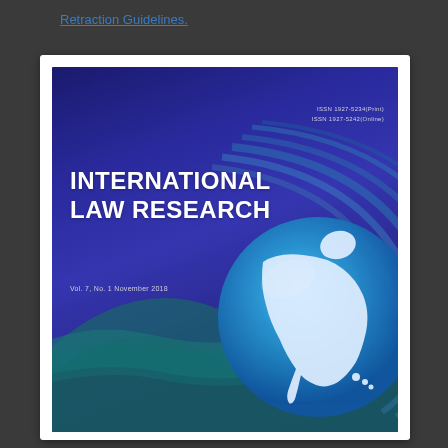Retraction Guidelines.
[Figure (illustration): Cover of International Law Research journal, Vol. 7, No. 1, November 2018. Dark blue/purple background with globe graphic showing North America, decorative concentric arc swooshes, journal title in large white bold text, ISSN numbers in top right.]